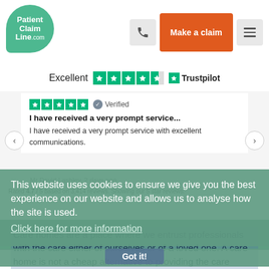Patient Claim Line .com | Make a claim
Excellent ★★★★½ Trustpilot
★★★★★ Verified
I have received a very prompt service...
I have received a very prompt service with excellent communications.
Mr David Lashley, 2 days ago
Rated 4.7 / 5 based on 3,414 reviews. Showing our 5 star reviews.
This website uses cookies to ensure we give you the best experience on our website and allows us to analyse how the site is used.
Click here for more information
Got it!
Care homes are a place where we entrust professionals with the care either of ourselves or of a loved one. A care home is not a cheap alternative to providing the care